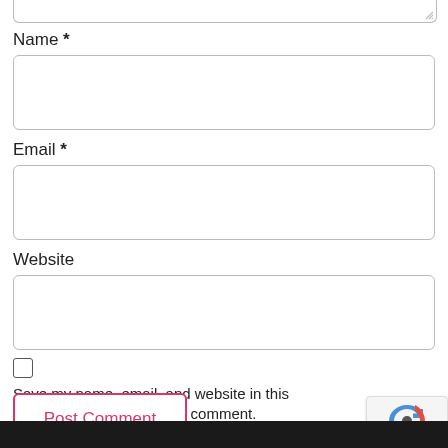[Figure (screenshot): Top portion of a textarea input field (cropped, showing only bottom edge with resize handle)]
Name *
[Figure (screenshot): Empty Name text input field with rounded border]
Email *
[Figure (screenshot): Empty Email text input field with rounded border]
Website
[Figure (screenshot): Empty Website text input field with rounded border]
Save my name, email, and website in this browser for the next time I comment.
[Figure (screenshot): Post Comment button with pink/red border and text, and reCAPTCHA badge in bottom-right corner]